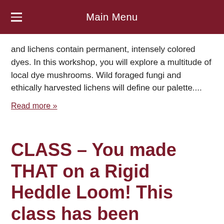Main Menu
and lichens contain permanent, intensely colored dyes. In this workshop, you will explore a multitude of local dye mushrooms. Wild foraged fungi and ethically harvested lichens will define our palette....
Read more »
CLASS – You made THAT on a Rigid Heddle Loom! This class has been cancelled and will be rescheduled
Posted April 5, 2015 by Karen Kelly